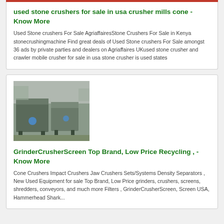used stone crushers for sale in usa crusher mills cone - Know More
Used Stone crushers For Sale AgriaffairesStone Crushers For Sale in Kenya stonecrushingmachine Find great deals of Used Stone crushers For Sale amongst 36 ads by private parties and dealers on Agriaffaires UKused stone crusher and crawler mobile crusher for sale in usa stone crusher is used states
[Figure (photo): Industrial crusher/screen machine in a factory setting, grey metal equipment on workshop floor]
GrinderCrusherScreen Top Brand, Low Price Recycling , - Know More
Cone Crushers Impact Crushers Jaw Crushers Sets/Systems Density Separators , New Used Equipment for sale Top Brand, Low Price grinders, crushers, screens, shredders, conveyors, and much more Filters , GrinderCrusherScreen, Screen USA, Hammerhead Shark...